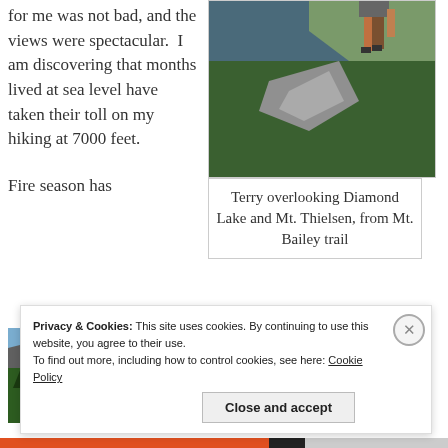for me was not bad, and the views were spectacular. I am discovering that months lived at sea level have taken their toll on my hiking at 7000 feet.
[Figure (photo): Hiker on rocky mountain trail with pine trees and cloudy sky in background]
Terry overlooking Diamond Lake and Mt. Thielsen, from Mt. Bailey trail
Fire season has
[Figure (photo): Mountain cliff face with dense pine forest in foreground, blue sky above]
come to Oregon, along
Privacy & Cookies: This site uses cookies. By continuing to use this website, you agree to their use.
To find out more, including how to control cookies, see here: Cookie Policy
Close and accept